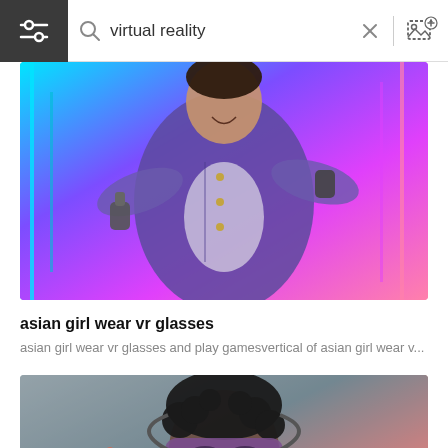[Figure (screenshot): Search bar UI with filter icon on left dark background, search icon, text 'virtual reality', X close button, and image upload icon on right]
[Figure (photo): Asian girl in denim jacket with neon lighting holding VR controllers in a colorful neon lit room with blue and purple tones]
asian girl wear vr glasses
asian girl wear vr glasses and play gamesvertical of asian girl wear v...
[Figure (photo): Person with curly hair wearing a VR headset against a grey concrete wall with pink/red lighting, hands raised]